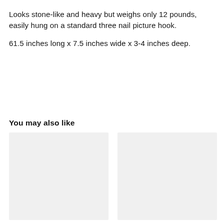Looks stone-like and heavy but weighs only 12 pounds, easily hung on a standard three nail picture hook.

61.5 inches long x 7.5 inches wide x 3-4 inches deep.
You may also like
[Figure (photo): Two placeholder image boxes side by side, light gray background, part of a 'You may also like' product recommendation section.]